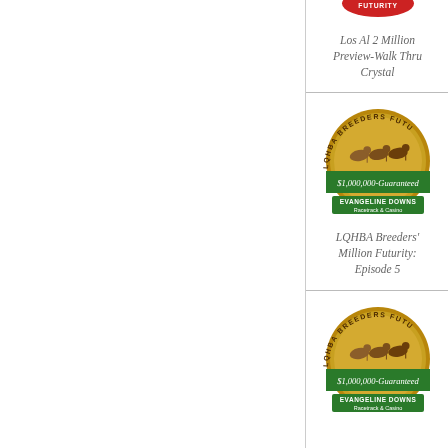[Figure (logo): LQHBA Breeders Futurity logo (partially visible at top)]
Los Al 2 Million Preview-Walk Thru Crystal
[Figure (logo): LQHBA Breeders Futurity $1,000,000-Guaranteed Evangeline Downs Racetrack & Casino badge logo]
LQHBA Breeders' Million Futurity: Episode 5
[Figure (logo): LQHBA Breeders Futurity $1,000,000-Guaranteed Evangeline Downs Racetrack & Casino badge logo (second instance)]